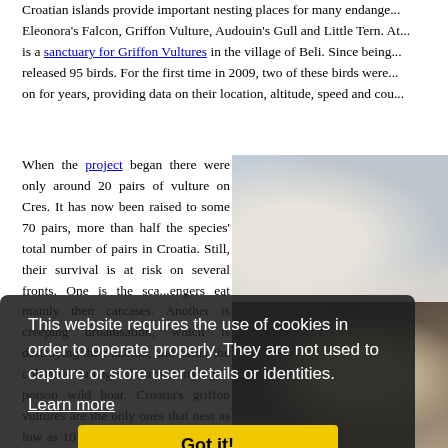Croatian islands provide important nesting places for many endange... Eleonora's Falcon, Griffon Vulture, Audouin's Gull and Little Tern. At... is a sanctuary for Griffon Vultures in the village of Beli. Since being... released 95 birds. For the first time in 2009, two of these birds were... on for years, providing data on their location, altitude, speed and cou...
When the project began there were only around 20 pairs of vulture on Cres. It has now been raised to some 70 pairs, more than half the species' total number of pairs in Croatia. Still, their survival is at risk on several fronts. One is the sca...engers eat mainly then carcases. Another is creeping urbanisation, which is destroying their habitat, and ... suffer the collateral damage of farmers trying to poison wild boar. Croatia's griffon vultures are the only ones that nest as low as 10 metres just above the sea... boats, and upon reaching them they clap and shout in order to s...
[Figure (photo): Two-part photo: top half shows white/grey limestone rocks or stone wall; bottom half shows what appears to be a Griffon Vulture resting on rocky terrain.]
This website requires the use of cookies in order to operate properly. They are not used to capture or store user details or identities.
Learn more
Got it!